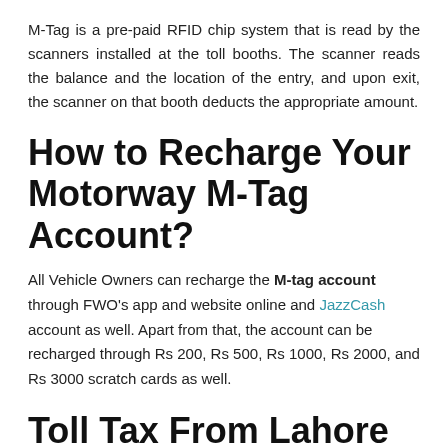M-Tag is a pre-paid RFID chip system that is read by the scanners installed at the toll booths. The scanner reads the balance and the location of the entry, and upon exit, the scanner on that booth deducts the appropriate amount.
How to Recharge Your Motorway M-Tag Account?
All Vehicle Owners can recharge the M-tag account through FWO's app and website online and JazzCash account as well. Apart from that, the account can be recharged through Rs 200, Rs 500, Rs 1000, Rs 2000, and Rs 3000 scratch cards as well.
Toll Tax From Lahore Motorway